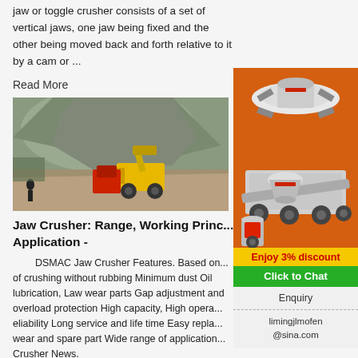jaw or toggle crusher consists of a set of vertical jaws, one jaw being fixed and the other being moved back and forth relative to it by a cam or ...
Read More
[Figure (photo): Outdoor quarry/mining site with large yellow loader and red jaw crusher machinery, rocky terrain and hillside in background, person visible in foreground]
Jaw Crusher: Range, Working Princ... Application -
DSMAC Jaw Crusher Features. Based on... of crushing without rubbing Minimum dust Oil lubrication, Law wear parts Gap adjustment and overload protection High capacity, High opera... eliability Long service and life time Easy repla... wear and spare part Wide range of application... Crusher News.
[Figure (infographic): Orange sidebar advertisement showing industrial crusher/mining equipment illustrations including cone crusher, mobile crusher unit, and vertical shaft impactor. Yellow banner: Enjoy 3% discount. Green banner: Click to Chat. Enquiry section. Contact: limingjlmofen@sina.com]